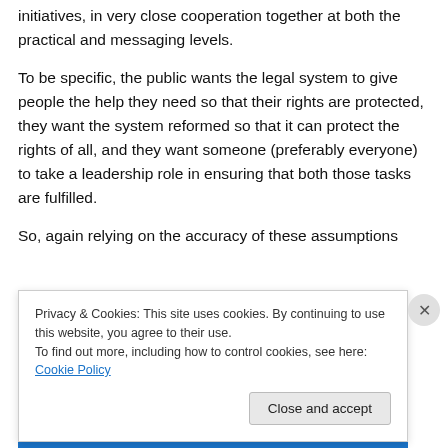initiatives, in very close cooperation together at both the practical and messaging levels.
To be specific, the public wants the legal system to give people the help they need so that their rights are protected, they want the system reformed so that it can protect the rights of all, and they want someone (preferably everyone) to take a leadership role in ensuring that both those tasks are fulfilled.
So, again relying on the accuracy of these assumptions
Privacy & Cookies: This site uses cookies. By continuing to use this website, you agree to their use.
To find out more, including how to control cookies, see here: Cookie Policy
Close and accept